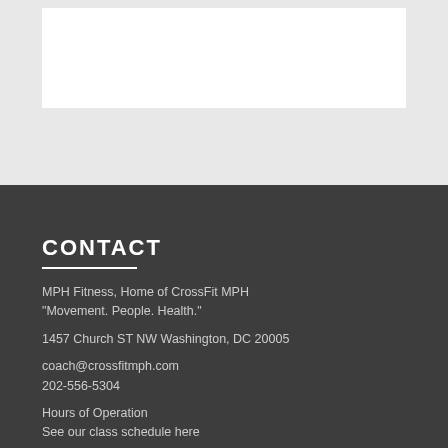[Figure (photo): White rectangular box on light gray background at top of page]
CONTACT
MPH Fitness, Home of CrossFit MPH
"Movement. People. Health."
1457 Church ST NW Washington, DC 20005
coach@crossfitmph.com
202-556-5304
Hours of Operation
See our class schedule here